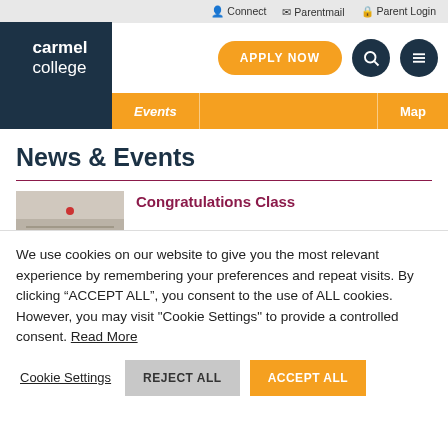Connect  Parentmail  Parent Login
[Figure (logo): Carmel College logo — white text on dark navy background]
APPLY NOW  [search icon]  [menu icon]
Events  Map
News & Events
[Figure (photo): Thumbnail photo of a classroom or corridor]
Congratulations Class
We use cookies on our website to give you the most relevant experience by remembering your preferences and repeat visits. By clicking “ACCEPT ALL”, you consent to the use of ALL cookies. However, you may visit "Cookie Settings" to provide a controlled consent. Read More
Cookie Settings  REJECT ALL  ACCEPT ALL